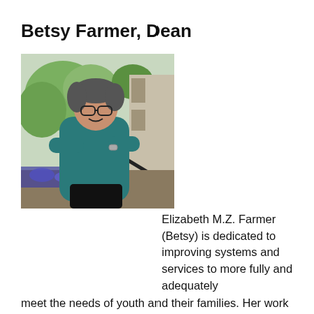Betsy Farmer, Dean
[Figure (photo): Photograph of Betsy Farmer standing outdoors with arms crossed, wearing a teal top, with trees and a building in the background.]
Elizabeth M.Z. Farmer (Betsy) is dedicated to improving systems and services to more fully and adequately meet the needs of youth and their families. Her work for the past 35 years has focused on youth with mental health disorders, particularly youth who are served across multiple sectors of the child-serving system, with a focus on understanding patterns and pathways through the service system, improving